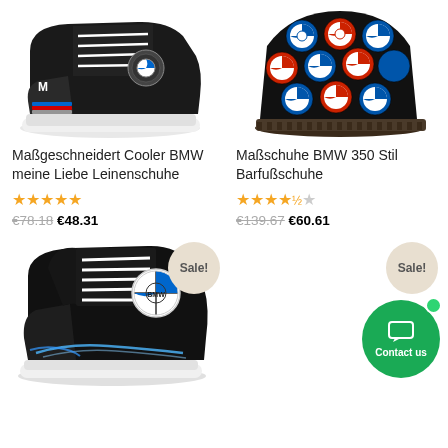[Figure (photo): Black high-top Converse-style sneaker with BMW heraldic crest logo and tricolor stripe]
[Figure (photo): Black Yeezy-style sneaker with colorful BMW roundel circle pattern all over upper]
Maßgeschneidert Cooler BMW meine Liebe Leinenschuhe
Maßschuhe BMW 350 Stil Barfußschuhe
★★★★★ €78.18 €48.31
★★★★½ €139.67 €60.61
[Figure (photo): Black high-top Converse-style sneaker with BMW roundel logo and blue flame/car design at base]
Sale!
Sale!
Contact us